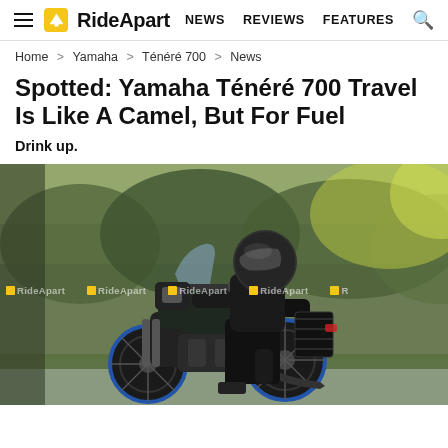RideApart — NEWS  REVIEWS  FEATURES
Home > Yamaha > Ténéré 700 > News
Spotted: Yamaha Ténéré 700 Travel Is Like A Camel, But For Fuel
Drink up.
[Figure (photo): Spy photo of a rider on a Yamaha Ténéré 700 Travel prototype motorcycle on a road, with green foliage in the background. The motorcycle is dark/black with blue wheel rims. Multiple RideApart watermarks are overlaid across the image.]